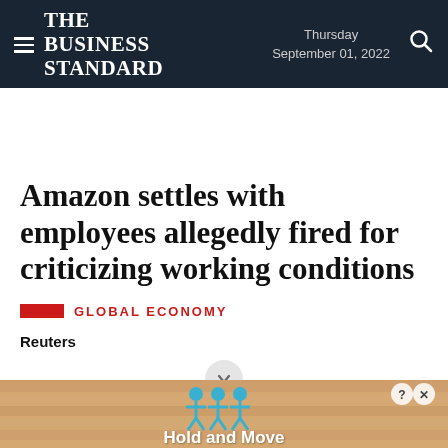The Business Standard — Thursday September 01, 2022
Amazon settles with employees allegedly fired for criticizing working conditions
GLOBAL ECONOMY
Reuters
[Figure (illustration): Advertisement banner showing cartoon figures with text 'Hold and Move' on a wooden conveyor belt background, with close (X) and help (?) buttons]